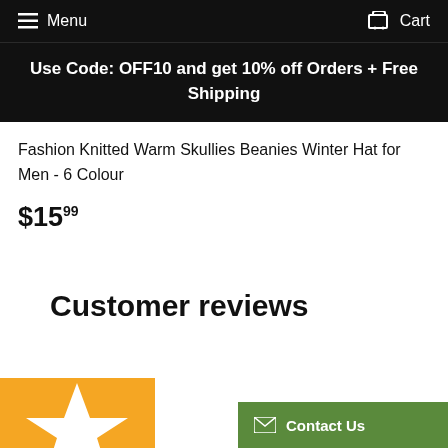Menu   Cart
Use Code: OFF10 and get 10% off Orders + Free Shipping
Fashion Knitted Warm Skullies Beanies Winter Hat for Men - 6 Colour
$15.99
Customer reviews
[Figure (other): Yellow star rating graphic partial view at bottom left]
[Figure (other): Contact Us button with envelope icon, green background, bottom right]